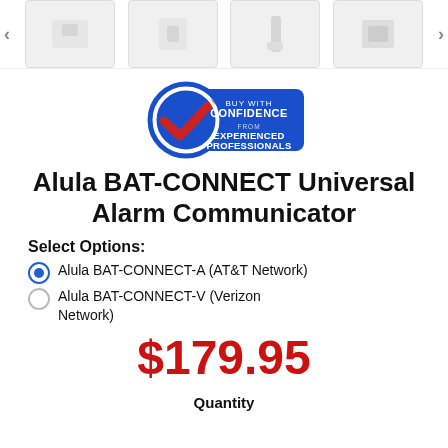[Figure (other): Thumbnail image carousel row with left/right arrows and four product thumbnail images]
[Figure (logo): Buy With Confidence From Experienced Professionals badge with blue circle and red checkmark]
Alula BAT-CONNECT Universal Alarm Communicator
Select Options:
Alula BAT-CONNECT-A (AT&T Network)
Alula BAT-CONNECT-V (Verizon Network)
$179.95
Quantity